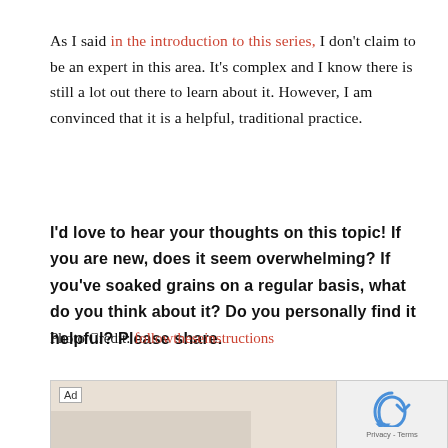As I said in the introduction to this series, I don't claim to be an expert in this area. It's complex and I know there is still a lot out there to learn about it. However, I am convinced that it is a helpful, traditional practice.
I'd love to hear your thoughts on this topic! If you are new, does it seem overwhelming? If you've soaked grains on a regular basis, what do you think about it? Do you personally find it helpful? Please share.
Photo Credit: followtheseinstructions
[Figure (screenshot): Advertisement banner showing a furniture/bedroom set sale with price $999 and red circle badge, plus a CAPTCHA/privacy widget on the right side.]